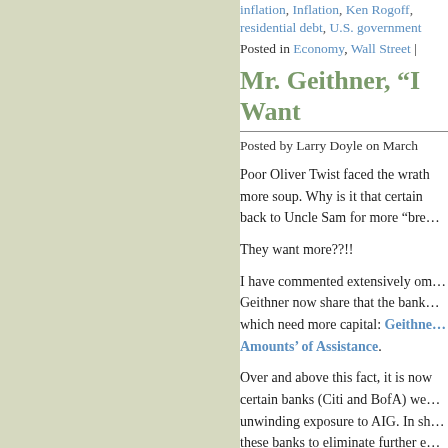inflation, Inflation, Ken Rogoff, residential debt, U.S. government |
Posted in Economy, Wall Street |
Mr. Geithner, “I Want…”
Posted by Larry Doyle on March…
Poor Oliver Twist faced the wrath… more soup. Why is it that certain… back to Uncle Sam for more “bre…
They want more??!!
I have commented extensively om… Geithner now share that the bank… which need more capital: Geithner… Amounts’ of Assistance.
Over and above this fact, it is now… certain banks (Citi and BofA) we… unwinding exposure to AIG. In sh… these banks to eliminate further e… AIG (taxpayers) incurred larger l…